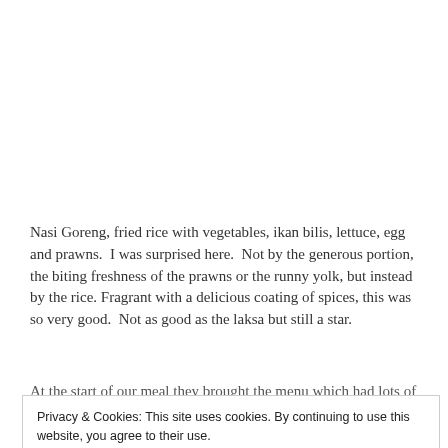[Figure (photo): Top portion of page showing a photograph (partially visible/cropped), appears to be food image related to Nasi Goreng]
Nasi Goreng, fried rice with vegetables, ikan bilis, lettuce, egg and prawns.  I was surprised here.  Not by the generous portion, the biting freshness of the prawns or the runny yolk, but instead by the rice.  Fragrant with a delicious coating of spices, this was so very good.  Not as good as the laksa but still a star.
At the start of our meal they brought the menu which had lots of
Privacy & Cookies: This site uses cookies. By continuing to use this website, you agree to their use.
To find out more, including how to control cookies, see here: Cookie Policy
Close and accept
tantamount. Some things are perhaps worth going crazy for.